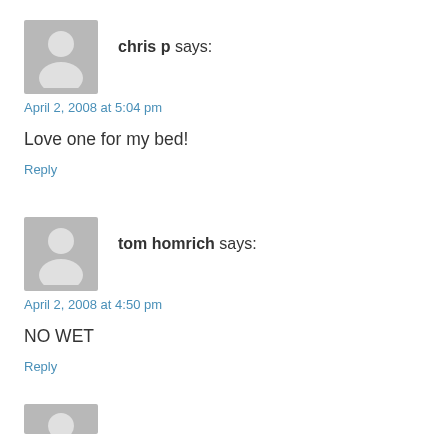[Figure (illustration): Gray placeholder avatar icon for user chris p]
chris p says:
April 2, 2008 at 5:04 pm
Love one for my bed!
Reply
[Figure (illustration): Gray placeholder avatar icon for user tom homrich]
tom homrich says:
April 2, 2008 at 4:50 pm
NO WET
Reply
[Figure (illustration): Gray placeholder avatar icon partially visible at bottom]